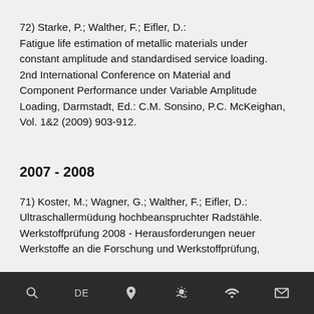72) Starke, P.; Walther, F.; Eifler, D.: Fatigue life estimation of metallic materials under constant amplitude and standardised service loading. 2nd International Conference on Material and Component Performance under Variable Amplitude Loading, Darmstadt, Ed.: C.M. Sonsino, P.C. McKeighan, Vol. 1&2 (2009) 903-912.
2007 - 2008
71) Koster, M.; Wagner, G.; Walther, F.; Eifler, D.: Ultraschallermüdung hochbeanspruchter Radstähle. Werkstoffprüfung 2008 - Herausforderungen neuer Werkstoffe an die Forschung und Werkstoffprüfung,